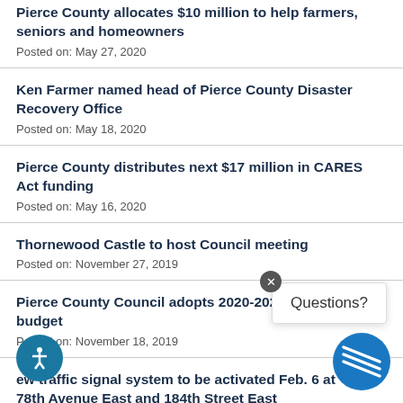Pierce County allocates $10 million to help farmers, seniors and homeowners
Posted on: May 27, 2020
Ken Farmer named head of Pierce County Disaster Recovery Office
Posted on: May 18, 2020
Pierce County distributes next $17 million in CARES Act funding
Posted on: May 16, 2020
Thornewood Castle to host Council meeting
Posted on: November 27, 2019
Pierce County Council adopts 2020-2021 biennial budget
Posted on: November 18, 2019
New traffic signal system to be activated Feb. 6 at 78th Avenue East and 184th Street East